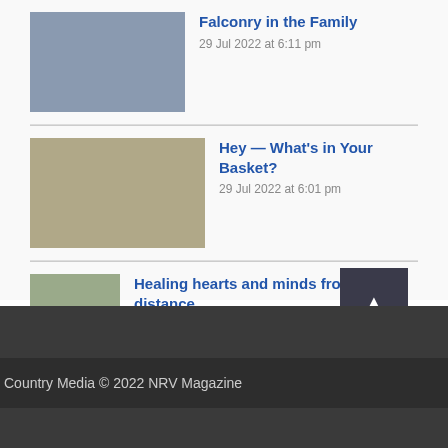[Figure (photo): Thumbnail image for Falconry in the Family article]
Falconry in the Family
29 Jul 2022 at 6:11 pm
[Figure (photo): Thumbnail image for Hey — What's in Your Basket? article]
Hey — What's in Your Basket?
29 Jul 2022 at 6:01 pm
[Figure (photo): Thumbnail image for Healing hearts and minds from a distance article]
Healing hearts and minds from a distance
28 Jul 2022 at 6:18 pm
Country Media © 2022 NRV Magazine